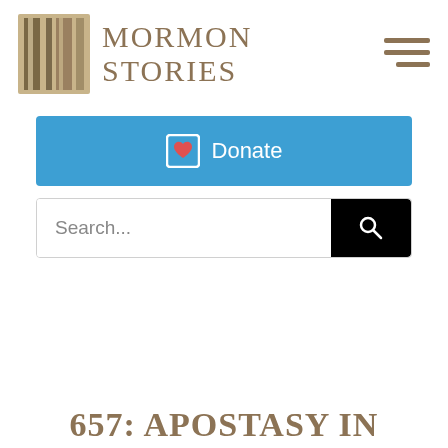[Figure (logo): Mormon Stories logo with stylized pillars image and serif text]
Donate
Search...
657: APOSTASY IN